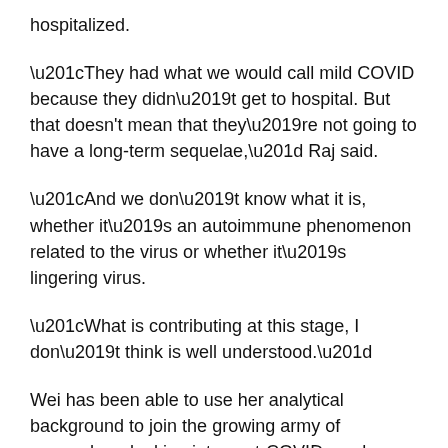hospitalized.
“They had what we would call mild COVID because they didn’t get to hospital. But that doesn't mean that they’re not going to have a long-term sequelae,” Raj said.
“And we don’t know what it is, whether it’s an autoimmune phenomenon related to the virus or whether it’s lingering virus.
“What is contributing at this stage, I don’t think is well understood.”
Wei has been able to use her analytical background to join the growing army of researchers looking into post-COVID syndrome and all its aspects.